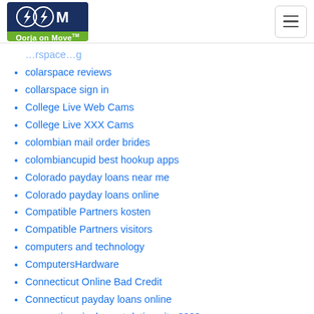Oorja on Move™ [logo] [hamburger menu]
colarspace reviews
collarspace sign in
College Live Web Cams
College Live XXX Cams
colombian mail order brides
colombiancupid best hookup apps
Colorado payday loans near me
Colorado payday loans online
Compatible Partners kosten
Compatible Partners visitors
computers and technology
ComputersHardware
Connecticut Online Bad Credit
Connecticut payday loans online
connecting singles net dating site 2020